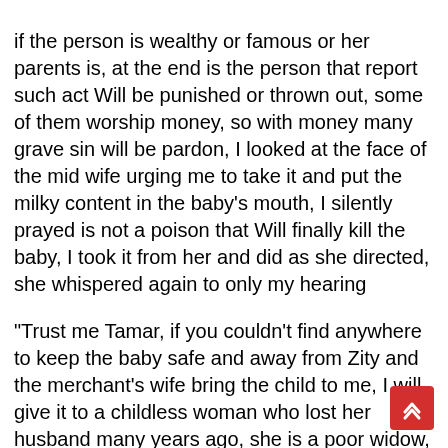if the person is wealthy or famous or her parents is, at the end is the person that report such act Will be punished or thrown out, some of them worship money, so with money many grave sin will be pardon, I looked at the face of the mid wife urging me to take it and put the milky content in the baby's mouth, I silently prayed is not a poison that Will finally kill the baby, I took it from her and did as she directed, she whispered again to only my hearing
"Trust me Tamar, if you couldn't find anywhere to keep the baby safe and away from Zity and the merchant's wife bring the child to me, I will give it to a childless woman who lost her husband many years ago, she is a poor widow, she also have two of Okra's children, many years ago, I was asked by the merchants wife to disposed the twins, during the early year of her marriage to the merchant, Lami was on a journey when okra brought forth twin and refused to look at them just like Zity, she paid me a huge amount and asked me to inject them a deadly venom that Will make them die quick and i pretend to do that before taking off the babies to the widow who lives in the outskirt of the kingdom, and i gave her the twins making her swear she will